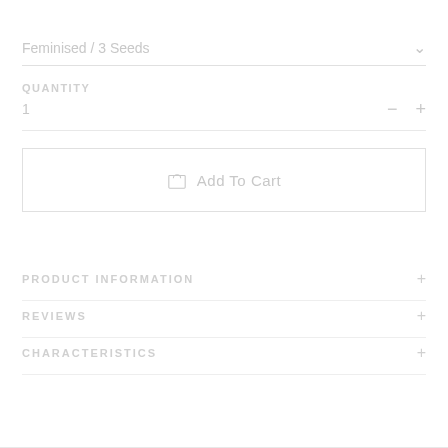Feminised / 3 Seeds
QUANTITY
1
Add To Cart
PRODUCT INFORMATION
REVIEWS
CHARACTERISTICS